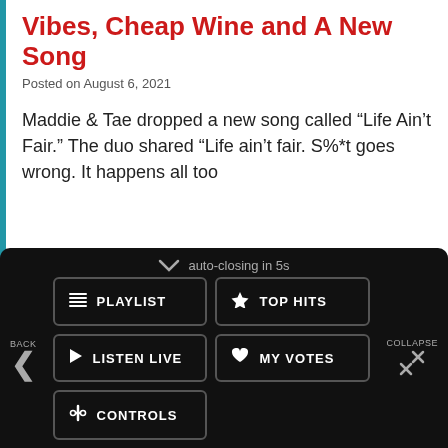Vibes, Cheap Wine and A New Song
Posted on August 6, 2021
Maddie & Tae dropped a new song called “Life Ain’t Fair.” The duo shared “Life ain’t fair. S%*t goes wrong. It happens all too
[Figure (screenshot): Mobile app overlay menu with auto-closing in 5s countdown, navigation buttons: PLAYLIST, TOP HITS, LISTEN LIVE, MY VOTES, CONTROLS. Data opt-out toggle. Now playing bar showing Colder Weather by Zac Brown Band with MENU, close, and play controls.]